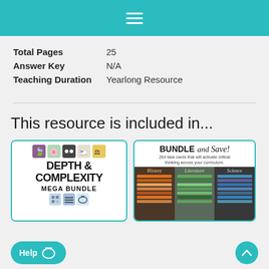≡
Total Pages    25
Answer Key    N/A
Teaching Duration    Yearlong Resource
This resource is included in...
[Figure (illustration): Depth & Complexity Mega Bundle product thumbnail with colorful icon squares and bold text]
[Figure (illustration): Bundle and Save task cards product thumbnail showing History, Literature, Science columns of task cards]